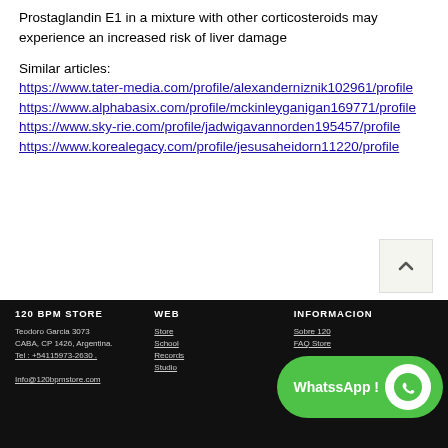Prostaglandin E1 in a mixture with other corticosteroids may experience an increased risk of liver damage
Similar articles:
https://www.tater-media.com/profile/alexanderniznik102961/profile https://www.alphabasix.com/profile/mckinleyganigan169771/profile https://www.sky-rie.com/profile/jadwigavannorden195457/profile https://www.korealegacy.com/profile/jesusaheidorn11220/profile
120 BPM STORE | WEB: Store, School, Records, Studio | INFORMACION: Sobre 120, FAQ Store | Teodoro Garcia 3073, CABA, CP 1426, Argentina. Tel: +54115973-2630. Info@120bpmstore.com